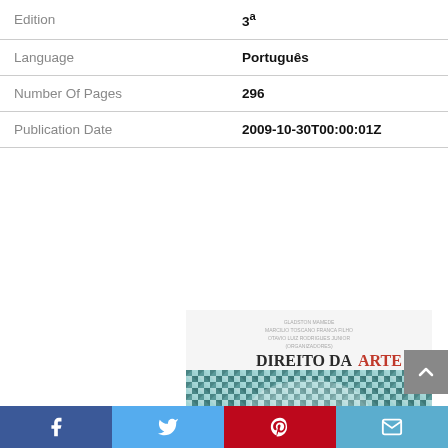|  |  |
| --- | --- |
| Edition | 3ª |
| Language | Português |
| Number Of Pages | 296 |
| Publication Date | 2009-10-30T00:00:01Z |
[Figure (photo): Book cover of 'Direito da Arte' showing authors GLADSTON MAMEDE, MARCILIO TOSCANO FRANCA FILHO, OTAVIO LUIZ RODRIGUES JUNIOR (ORGANIZADORES). Title in dark and red text, with an abstract geometric/mosaic pattern in teal and white.]
Facebook  Twitter  Pinterest  Email